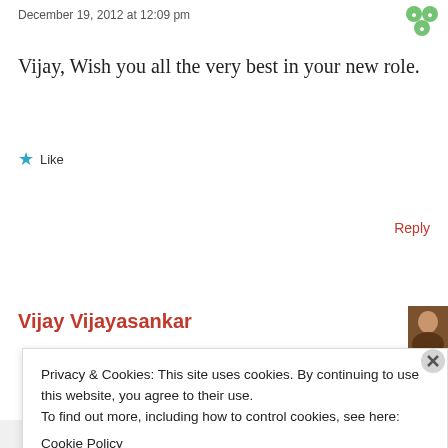December 19, 2012 at 12:09 pm
Vijay, Wish you all the very best in your new role.
Like
Reply
Vijay Vijayasankar
Privacy & Cookies: This site uses cookies. By continuing to use this website, you agree to their use.
To find out more, including how to control cookies, see here:
Cookie Policy
Close and accept